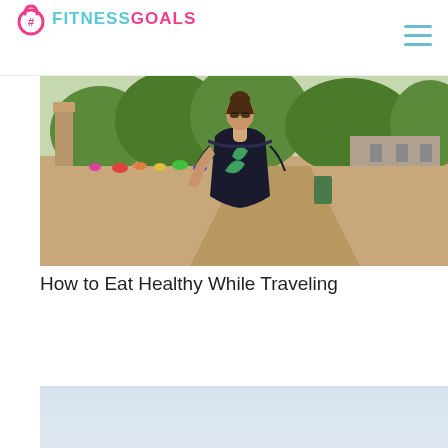#FITNESSGOALS
[Figure (photo): Woman with hair in a bun wearing sunglasses and a tropical off-shoulder top, standing on a sandy beach path with trees and buildings in the background]
How to Eat Healthy While Traveling
[Figure (photo): Partial view of a second article image with light blue/grey background, partially visible at the bottom of the page]